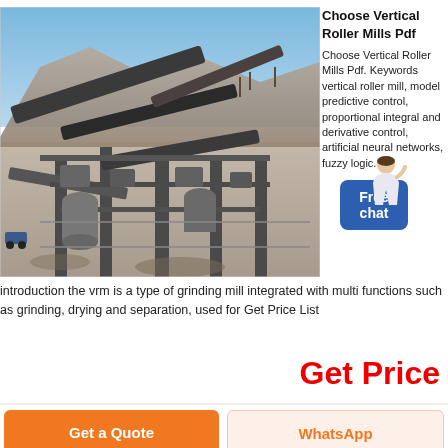[Figure (photo): Aerial/elevated view of a large industrial mining or quarrying crushing/grinding plant with conveyor belts, structural steel frames, concrete pillars, machinery, against a rocky hillside under blue sky.]
Choose Vertical Roller Mills Pdf
Choose Vertical Roller Mills Pdf. Keywords vertical roller mill, model predictive control, proportional integral and derivative control, artificial neural networks, fuzzy logic. 1.
introduction the vrm is a type of grinding mill integrated with multi functions such as grinding, drying and separation, used for Get Price List
Get Price
Get a Quote
WhatsApp